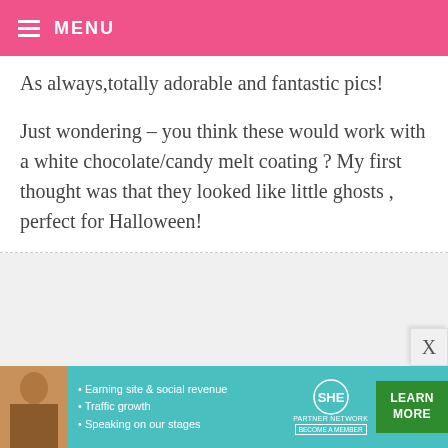MENU
As always, totally adorable and fantastic pics!

Just wondering – you think these would work with a white chocolate/candy melt coating ? My first thought was that they looked like little ghosts , perfect for Halloween!
CANDI @ FAMILY STAMPING AND FOOD! — SEPTEMBER 20, 2010 @ 8:38 AM REPLY
The chocolate beautifully...
[Figure (infographic): SHE Partner Network advertisement banner with woman photo, bullet points about earning site and social revenue, traffic growth, speaking on stages, SHE logo, LEARN MORE button]